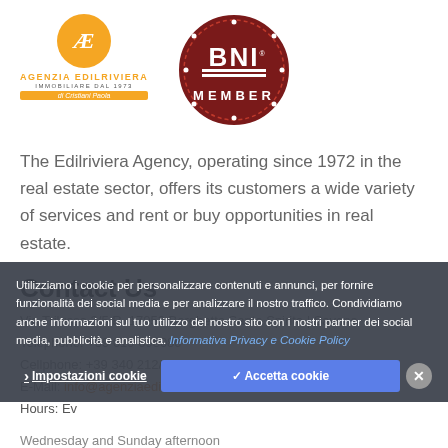[Figure (logo): Agenzia Edilriviera logo with orange circle AE monogram, agency name and 'di Cristiani Paola' badge]
[Figure (logo): BNI Member circular badge in dark red with BNI text and MEMBER around the bottom]
The Edilriviera Agency, operating since 1972 in the real estate sector, offers its customers a wide variety of services and rent or buy opportunities in real estate.
Contact Us
Via Trilussa 3/5 R. 17052 Borghetto Santo Spirito | Savona
Cellphone: +39 340 212/5741 | +39 335 7769090
E-Mail: info@agenziaedilriviera.it
Hours: Every day from 10 to 12 and from 15 to 18.30 except Wednesday and Sunday afternoon
Utilizziamo i cookie per personalizzare contenuti e annunci, per fornire funzionalità dei social media e per analizzare il nostro traffico. Condividiamo anche informazioni sul tuo utilizzo del nostro sito con i nostri partner dei social media, pubblicità e analistica. Informativa Privacy e Cookie Policy